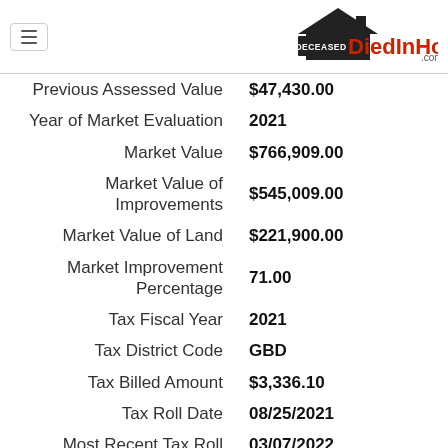DiedInHouse.com
| Label | Value |
| --- | --- |
| Previous Assessed Value | $47,430.00 |
| Year of Market Evaluation | 2021 |
| Market Value | $766,909.00 |
| Market Value of Improvements | $545,009.00 |
| Market Value of Land | $221,900.00 |
| Market Improvement Percentage | 71.00 |
| Tax Fiscal Year | 2021 |
| Tax District Code | GBD |
| Tax Billed Amount | $3,336.10 |
| Tax Roll Date | 08/25/2021 |
| Most Recent Tax Roll | 03/07/2022 |
Join the Diedinhouse.com Affiliate Program! Earn a monthly commission by helping sell our reports! Learn More
Building Ownership Information